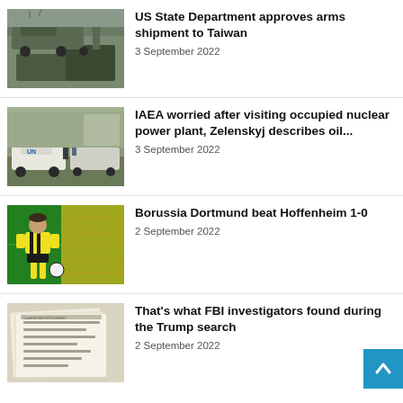[Figure (photo): Military vehicles and soldiers, related to Taiwan arms shipment]
US State Department approves arms shipment to Taiwan
3 September 2022
[Figure (photo): UN vehicles and personnel, related to nuclear power plant visit]
IAEA worried after visiting occupied nuclear power plant, Zelenskyj describes oil...
3 September 2022
[Figure (photo): Soccer player in yellow and black Borussia Dortmund kit]
Borussia Dortmund beat Hoffenheim 1-0
2 September 2022
[Figure (photo): Document pages, related to FBI search at Trump property]
That's what FBI investigators found during the Trump search
2 September 2022